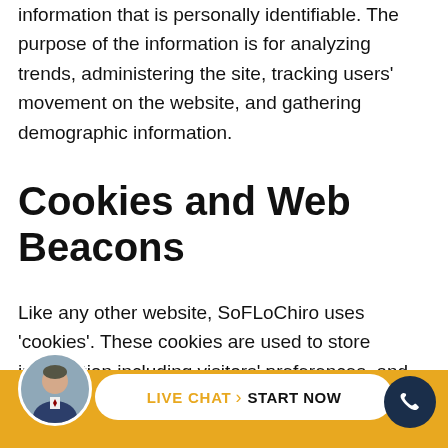information that is personally identifiable. The purpose of the information is for analyzing trends, administering the site, tracking users' movement on the website, and gathering demographic information.
Cookies and Web Beacons
Like any other website, SoFLoChiro uses 'cookies'. These cookies are used to store information including visitors' preferences, and the pages on the website that the visitor accessed or visited. The information is used to optimize the users' experience by customizing...
[Figure (infographic): Bottom bar with gold/yellow background containing a circular avatar photo of a man in a suit, a white pill-shaped button reading 'LIVE CHAT > START NOW' in gold and black text, and a dark navy circular phone icon button on the right.]